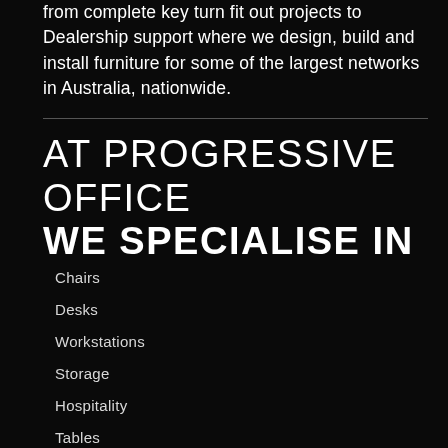from complete key turn fit out projects to Dealership support where we design, build and install furniture for some of the largest networks in Australia, nationwide.
AT PROGRESSIVE OFFICE WE SPECIALISE IN
Chairs
Desks
Workstations
Storage
Hospitality
Tables
Accessories
Reception
Materials Selection